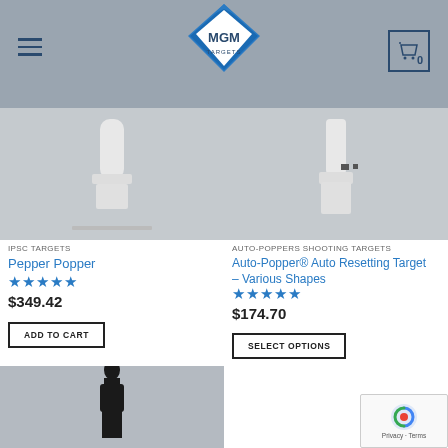MGM Targets header navigation
[Figure (photo): White IPSC Pepper Popper target on gray background]
IPSC TARGETS
Pepper Popper
★★★★★
$349.42
ADD TO CART
[Figure (photo): White Auto-Popper auto resetting target on gray background]
AUTO-POPPERS SHOOTING TARGETS
Auto-Popper® Auto Resetting Target – Various Shapes
★★★★★
$174.70
SELECT OPTIONS
[Figure (photo): Black silhouette target partially visible at bottom left]
[Figure (other): reCAPTCHA privacy badge with Google logo, Privacy and Terms links]